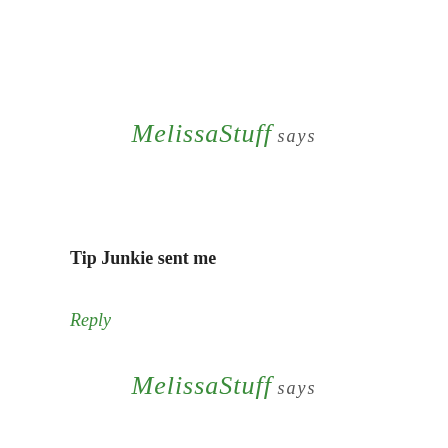MelissaStuff says
Tip Junkie sent me
Reply
MelissaStuff says